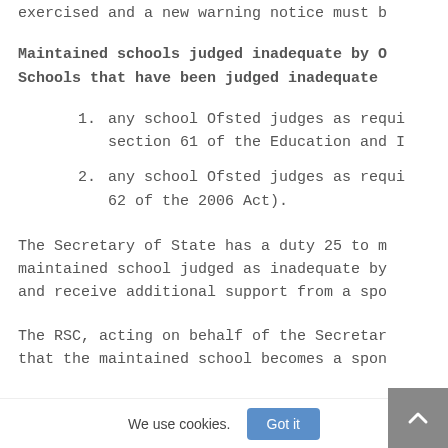exercised and a new warning notice must b
Maintained schools judged inadequate by O
Schools that have been judged inadequate
1. any school Ofsted judges as requi section 61 of the Education and I
2. any school Ofsted judges as requi 62 of the 2006 Act).
The Secretary of State has a duty 25 to m maintained school judged as inadequate by and receive additional support from a spo
The RSC, acting on behalf of the Secretar that the maintained school becomes a spon